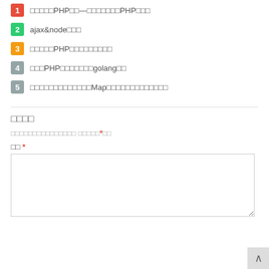1 □□□□□PHP□□—□□□□□□□PHP□□□
2 ajax&node□□□
3 □□□□□PHP□□□□□□□□□
4 □□□PHP□□□□□□□golang□□
5 □□□□□□□□□□□□□Map□□□□□□□□□□□□□
□□□□
□□□□□□□□□□□□□□□ □□□□□*□□
□□ *